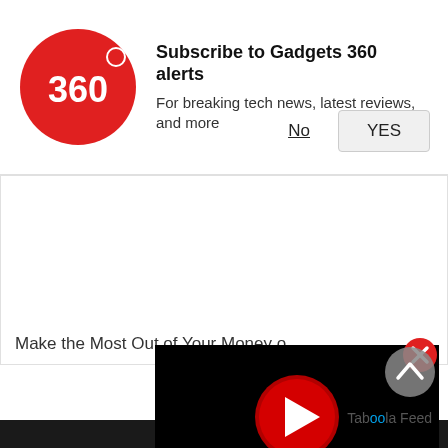[Figure (logo): Gadgets 360 red circular logo with '360' text]
Subscribe to Gadgets 360 alerts
For breaking tech news, latest reviews, and more
No
YES
Make the Most Out of Your Money o
[Figure (screenshot): Video player with black background and red play button circle in center]
[Figure (other): Red circle with white X close button]
[Figure (other): Gray circle with white upward chevron scroll-to-top button]
Taboola Feed
[Figure (photo): Dark image strip at bottom of page]